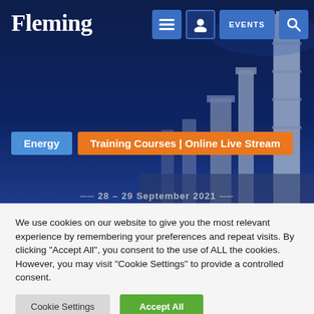[Figure (screenshot): Fleming website header with dark navy blue background showing industrial facility with towers and chimneys on the right side. Navigation bar at top with Fleming logo, hamburger menu, user icon, Events button, and search button. Two category badges: blue 'Energy' and orange 'Training Courses | Online Live Stream'. Partial date text visible at bottom of hero image.]
We use cookies on our website to give you the most relevant experience by remembering your preferences and repeat visits. By clicking "Accept All", you consent to the use of ALL the cookies. However, you may visit "Cookie Settings" to provide a controlled consent.
Cookie Settings
Accept All